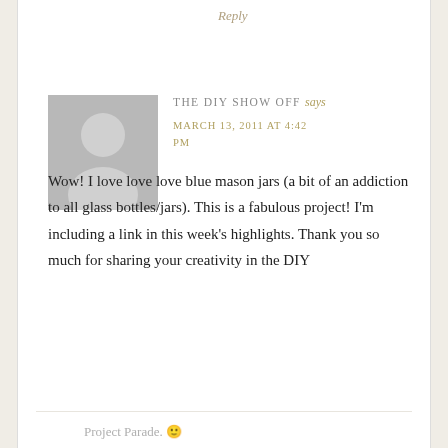Reply
[Figure (illustration): Default user avatar: grey square with silhouette of a person (circle head, rounded shoulders)]
THE DIY SHOW OFF says
MARCH 13, 2011 AT 4:42 PM
Wow! I love love love blue mason jars (a bit of an addiction to all glass bottles/jars). This is a fabulous project! I'm including a link in this week's highlights. Thank you so much for sharing your creativity in the DIY
Project Parade. 🙂